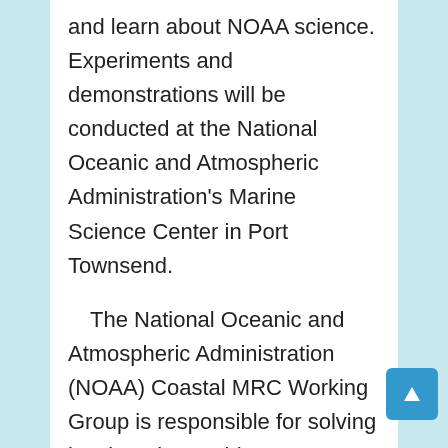and learn about NOAA science. Experiments and demonstrations will be conducted at the National Oceanic and Atmospheric Administration's Marine Science Center in Port Townsend.

    The National Oceanic and Atmospheric Administration (NOAA) Coastal MRC Working Group is responsible for solving local marine problems, recommending remedial action to local, state and federal authorities, raising local awareness of these problems, and adopting recommendations to implement the guidelines of the Marine Mammal